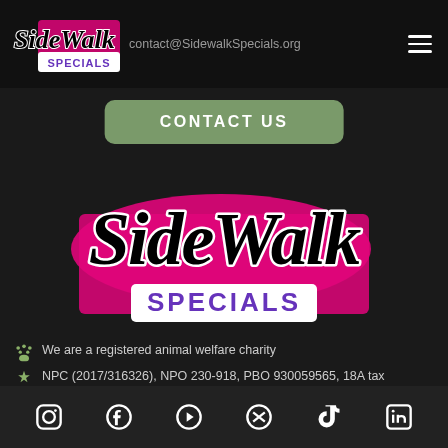contact@SidewalkSpecials.org
CONTACT US
[Figure (logo): SideWalk Specials logo — stylized script text 'SideWalk' in black with white outline over a bright pink/magenta background brush stroke, with 'SPECIALS' in bold purple letters on a white banner below]
We are a registered animal welfare charity
NPC (2017/316326), NPO 230-918, PBO 930059565, 18A tax certificates available
Social media icons: Instagram, Facebook, YouTube, Twitter, TikTok, LinkedIn